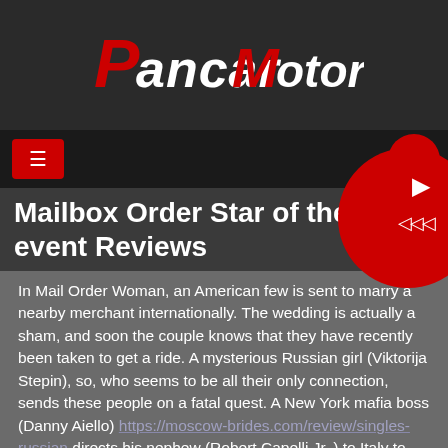Pancar Motori
Mailbox Order Star of the event Reviews
In Mail Order Woman, an American few is sent to marry a nearby merchant internationally. The wedding is actually a sham, and soon the couple knows that they have recently been taken to get a ride. A mysterious Russian girl (Viktorija Stepin), so, who seems to be all their only connection, sends these people on a fatal quest. A New York mafia boss (Danny Aiello) https://moscow-brides.com/review/singles-russian directs his nephew (Robert Capelli Jr. ) to Italy to locate a woman (Irene Marlow) who all presumably are the owners of many men. The movie becomes a very interesting film.